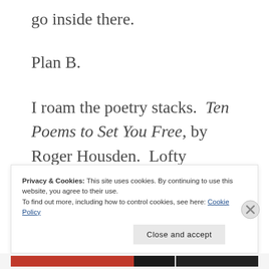go inside there.
Plan B.
I roam the poetry stacks.  Ten Poems to Set You Free, by Roger Housden.  Lofty promise.  I'm intrigued.  Hopeful.   I grab it, find a seat near a window – near the jigsaw puzzle half
Privacy & Cookies: This site uses cookies. By continuing to use this website, you agree to their use.
To find out more, including how to control cookies, see here: Cookie Policy
Close and accept